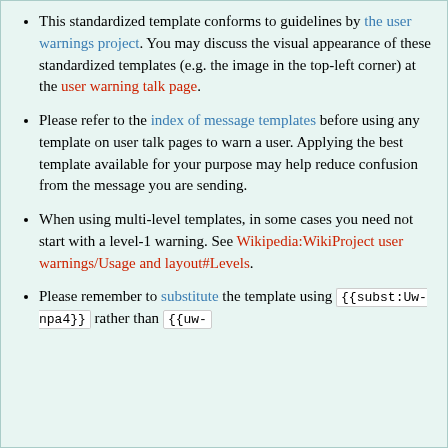This standardized template conforms to guidelines by the user warnings project. You may discuss the visual appearance of these standardized templates (e.g. the image in the top-left corner) at the user warning talk page.
Please refer to the index of message templates before using any template on user talk pages to warn a user. Applying the best template available for your purpose may help reduce confusion from the message you are sending.
When using multi-level templates, in some cases you need not start with a level-1 warning. See Wikipedia:WikiProject user warnings/Usage and layout#Levels.
Please remember to substitute the template using {{subst:Uw-npa4}} rather than {{uw-